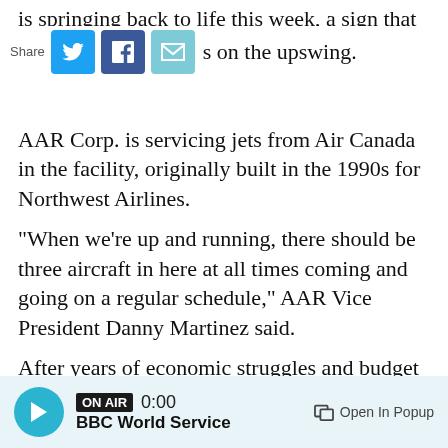is springing back to life this week, a sign that the s on the upswing.
AAR Corp. is servicing jets from Air Canada in the facility, originally built in the 1990s for Northwest Airlines.
"When we're up and running, there should be three aircraft in here at all times coming and going on a regular schedule," AAR Vice President Danny Martinez said.
After years of economic struggles and budget deficits, Duluth may be poised for a new era of prosperity. The city has announced several major industry investments in the area, the
ON AIR 0:00 BBC World Service Open In Popup